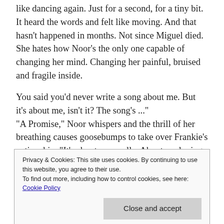like dancing again. Just for a second, for a tiny bit. It heard the words and felt like moving. And that hasn't happened in months. Not since Miguel died. She hates how Noor's the only one capable of changing her mind. Changing her painful, bruised and fragile inside.
You said you'd never write a song about me. But it's about me, isn't it? The song's ..."
"A Promise," Noor whispers and the thrill of her breathing causes goosebumps to take over Frankie's entire skin. "It's about me, really. About me loving you
Privacy & Cookies: This site uses cookies. By continuing to use this website, you agree to their use.
To find out more, including how to control cookies, see here:
Cookie Policy
Close and accept
Frankie is crying now. Warm tears burn her skin on